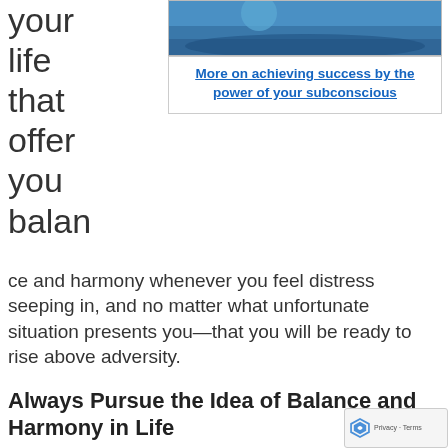your life that offer you balance
[Figure (photo): Photo of a person in a blue jacket on a scenic overlook above water and landscape]
More on achieving success by the power of your subconscious
ce and harmony whenever you feel distress seeping in, and no matter what unfortunate situation presents you—that you will be ready to rise above adversity.
Always Pursue the Idea of Balance and Harmony in Life
Remember, how to find happiness in life rarely is discovered by accident.
While you might discover a happy life in unforeseen places you should initially open yourself to the idea that wherever you are is where to find happiness. Some people are so miserable that they stop right around balance